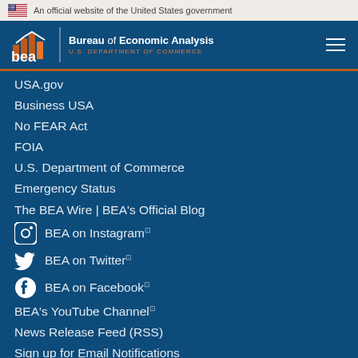An official website of the United States government
[Figure (logo): BEA Bureau of Economic Analysis U.S. Department of Commerce logo with navigation hamburger menu]
USA.gov
Business USA
No FEAR Act
FOIA
U.S. Department of Commerce
Emergency Status
The BEA Wire | BEA's Official Blog
BEA on Instagram
BEA on Twitter
BEA on Facebook
BEA's YouTube Channel
News Release Feed (RSS)
Sign up for Email Notifications